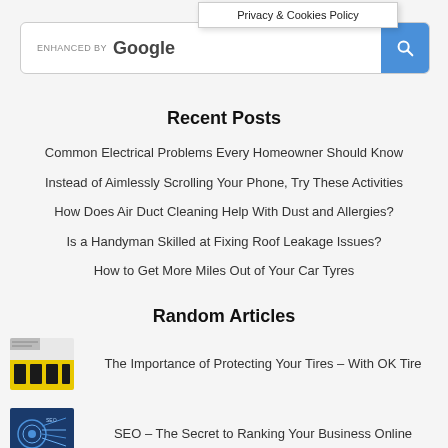Privacy & Cookies Policy
[Figure (screenshot): Google enhanced search bar with blue search button]
Recent Posts
Common Electrical Problems Every Homeowner Should Know
Instead of Aimlessly Scrolling Your Phone, Try These Activities
How Does Air Duct Cleaning Help With Dust and Allergies?
Is a Handyman Skilled at Fixing Roof Leakage Issues?
How to Get More Miles Out of Your Car Tyres
Random Articles
[Figure (photo): Thumbnail image of tire/automotive article with yellow and dark background]
The Importance of Protecting Your Tires – With OK Tire
[Figure (photo): Thumbnail image for SEO article with blue digital theme]
SEO – The Secret to Ranking Your Business Online